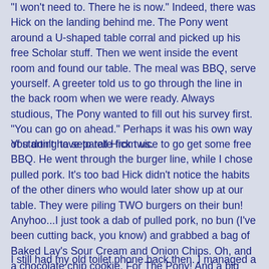"I won't need to. There he is now." Indeed, there was Hick on the landing behind me. The Pony went around a U-shaped table corral and picked up his free Scholar stuff. Then we went inside the event room and found our table. The meal was BBQ, serve yourself. A greeter told us to go through the line in the back room when we were ready. Always studious, The Pony wanted to fill out his survey first. "You can go on ahead." Perhaps it was his own way of starting to separate from us.
You don't have to tell Hick twice to go get some free BBQ. He went through the burger line, while I chose pulled pork. It's too bad Hick didn't notice the habits of the other diners who would later show up at our table. They were piling TWO burgers on their bun! Anyhoo...I just took a dab of pulled pork, no bun (I've been cutting back, you know) and grabbed a bag of Baked Lay's Sour Cream and Onion Chips. Oh, and a chocolate chip cookie. For The Pony! And a big bottle of water with the OU label (hopefully not recycled from fracking).
I still had my old toilet phone back then. I managed a couple of pictures at the scholar event from afar, but also right to...